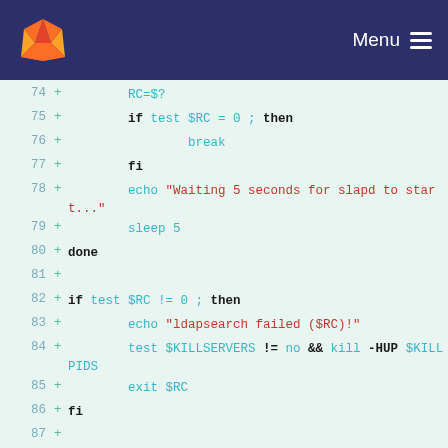GitLab navigation bar with logo and Menu
[Figure (screenshot): GitLab logo (fox/tanuki icon in orange) on dark navy background navbar]
74 + RC=$?
75 + if test $RC = 0 ; then
76 + break
77 + fi
78 + echo "Waiting 5 seconds for slapd to start..."
79 + sleep 5
80 + done
81 +
82 + if test $RC != 0 ; then
83 + echo "ldapsearch failed ($RC)!"
84 + test $KILLSERVERS != no && kill -HUP $KILLPIDS
85 + exit $RC
86 + fi
87 +
88 + echo "Using ldapadd to populate the master directory..."
89 + $LDAPADD -x -D "$MANAGERDN" -h